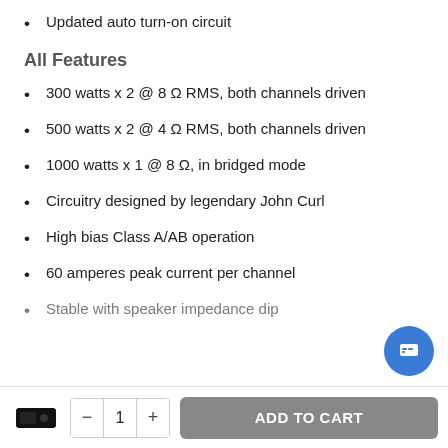Updated auto turn-on circuit
All Features
300 watts x 2 @ 8 Ω RMS, both channels driven
500 watts x 2 @ 4 Ω RMS, both channels driven
1000 watts x 1 @ 8 Ω, in bridged mode
Circuitry designed by legendary John Curl
High bias Class A/AB operation
60 amperes peak current per channel
Stable with speaker impedance dip...